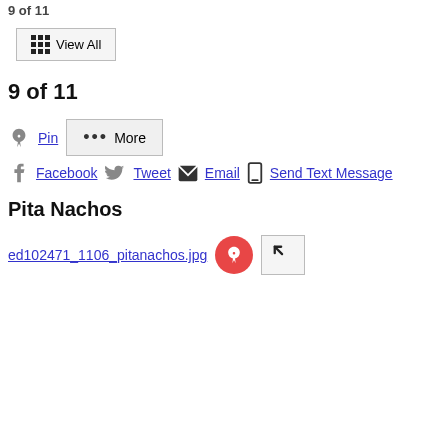9 of 11
View All
9 of 11
Pin  •••  More
Facebook  Tweet  Email  Send Text Message
Pita Nachos
ed102471_1106_pitanachos.jpg